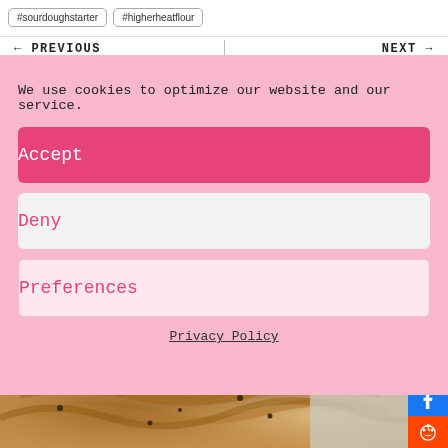#sourdoughstarter
#higherheatflour
← PREVIOUS
NEXT →
We use cookies to optimize our website and our service.
Accept
Deny
Preferences
Privacy Policy
[Figure (photo): Close-up photo of a baked pie or pastry with lattice crust, golden brown with dark spots, on a light cloth surface.]